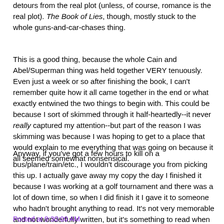detours from the real plot (unless, of course, romance is the real plot). The Book of Lies, though, mostly stuck to the whole guns-and-car-chases thing.
This is a good thing, because the whole Cain and Abel/Superman thing was held together VERY tenuously. Even just a week or so after finishing the book, I can't remember quite how it all came together in the end or what exactly entwined the two things to begin with. This could be because I sort of skimmed through it half-heartedly--it never really captured my attention--but part of the reason I was skimming was because I was hoping to get to a place that would explain to me everything that was going on because it all seemed somewhat nonsensical.
Anyway, if you've got a few hours to kill on a bus/plane/train/etc., I wouldn't discourage you from picking this up. I actually gave away my copy the day I finished it because I was working at a golf tournament and there was a lot of down time, so when I did finish it I gave it to someone who hadn't brought anything to read. It's not very memorable and not wonderfully written, but it's something to read when you have some time to kill.
Posted at 9:30:00 AM